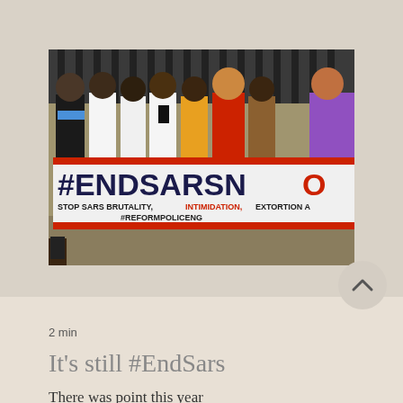[Figure (photo): Protest photo showing a group of young people holding a white banner that reads '#ENDSARSNO' in large bold letters (red and dark navy), with smaller text below reading 'STOP SARS BRUTALITY, INTIMIDATION, EXTORTION A...' and '#REFORMPOLICENG'. The protesters stand in front of a gate.]
2 min
It's still #EndSars
There was point this year when writing was all I could